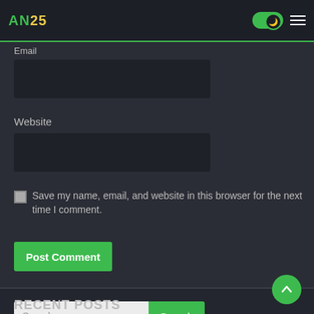AN25 [logo] [dark mode toggle] [hamburger menu]
Email
[Figure (screenshot): Dark input field for Email]
Website
[Figure (screenshot): Dark input field for Website]
Save my name, email, and website in this browser for the next time I comment.
Post Comment
[Figure (screenshot): Search input and Search button]
RECENT POSTS